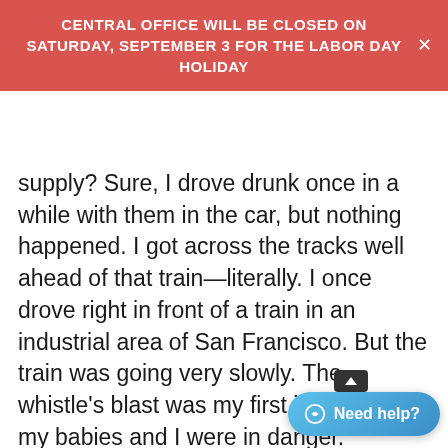CENTRAL OFFICE WILL BE CLOSED ON SATURDAY, SEPTEMBER 3 FOR THE LABOR DAY HOLIDAY
supply? Sure, I drove drunk once in a while with them in the car, but nothing happened. I got across the tracks well ahead of that train—literally. I once drove right in front of a train in an industrial area of San Francisco. But the train was going very slowly. The whistle's blast was my first inkling that my babies and I were in danger.
Then there was the time I was lying in bed hung-over and two energetic two-year-olds burst into my room jumping on my bed, as if it were a